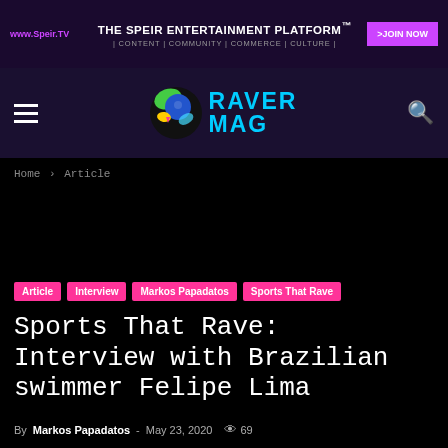www.Speir.TV | THE SPEIR ENTERTAINMENT PLATFORM | CONTENT | COMMUNITY | COMMERCE | CULTURE | >JOIN NOW
[Figure (logo): Raver Mag logo with colorful splatter circle and cyan text RAVER MAG on dark purple navigation bar]
Home > Article
Article
Interview
Markos Papadatos
Sports That Rave
Sports That Rave: Interview with Brazilian swimmer Felipe Lima
By Markos Papadatos - May 23, 2020  69